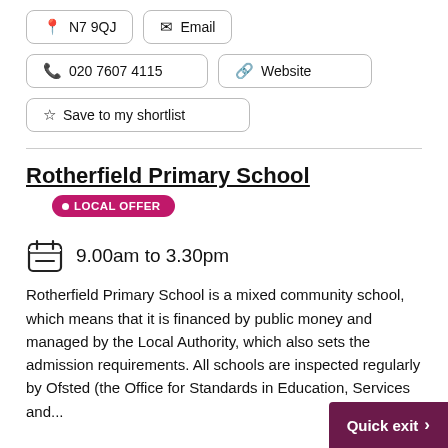N7 9QJ
Email
020 7607 4115
Website
Save to my shortlist
Rotherfield Primary School
LOCAL OFFER
9.00am to 3.30pm
Rotherfield Primary School is a mixed community school, which means that it is financed by public money and managed by the Local Authority, which also sets the admission requirements. All schools are inspected regularly by Ofsted (the Office for Standards in Education, Services and...
Quick exit >